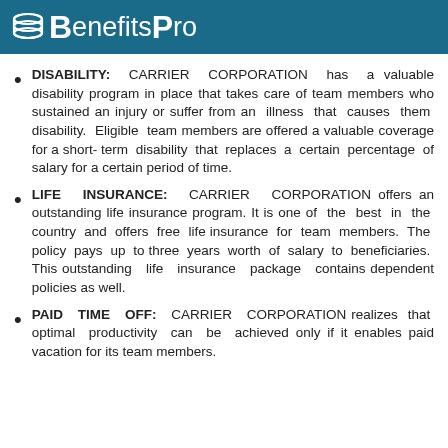BenefitsPro
DISABILITY: CARRIER CORPORATION has a valuable disability program in place that takes care of team members who sustained an injury or suffer from an illness that causes them disability. Eligible team members are offered a valuable coverage for a short-term disability that replaces a certain percentage of salary for a certain period of time.
LIFE INSURANCE: CARRIER CORPORATION offers an outstanding life insurance program. It is one of the best in the country and offers free life insurance for team members. The policy pays up to three years worth of salary to beneficiaries. This outstanding life insurance package contains dependent policies as well.
PAID TIME OFF: CARRIER CORPORATION realizes that optimal productivity can be achieved only if it enables paid vacation for its team members.